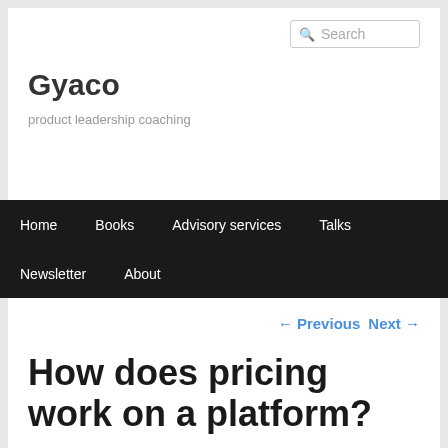Search
Gyaco
product leadership coaching
Home  Books  Advisory services  Talks  Newsletter  About
← Previous   Next →
How does pricing work on a platform?